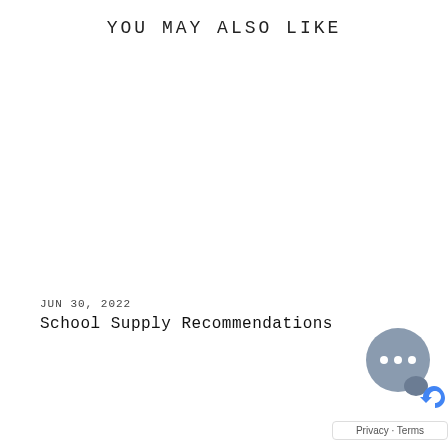YOU MAY ALSO LIKE
JUN 30, 2022
School Supply Recommendations